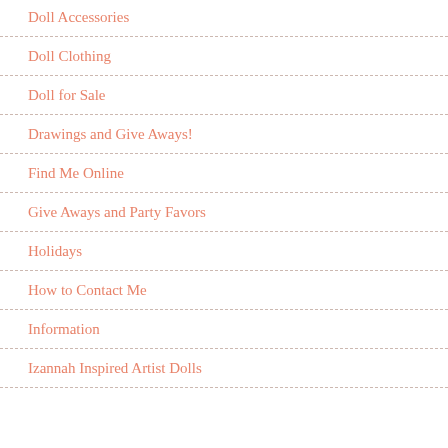Doll Accessories
Doll Clothing
Doll for Sale
Drawings and Give Aways!
Find Me Online
Give Aways and Party Favors
Holidays
How to Contact Me
Information
Izannah Inspired Artist Dolls